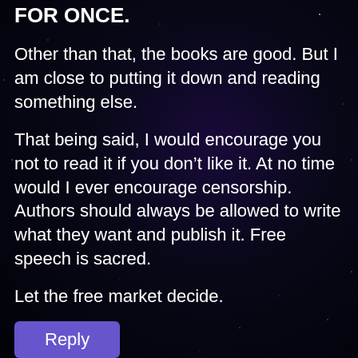FOR ONCE.
Other than that, the books are good. But I am close to putting it down and reading something else.
That being said, I would encourage you not to read it if you don't like it. At no time would I ever encourage censorship. Authors should always be allowed to write what they want and publish it. Free speech is sacred.
Let the free market decide.
Reply